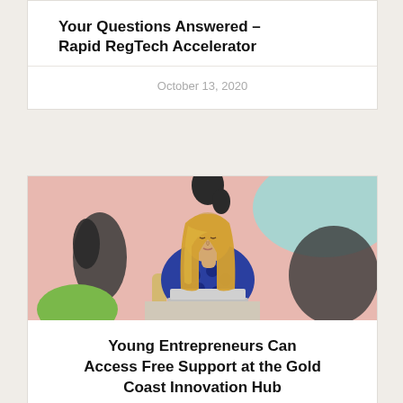Your Questions Answered – Rapid RegTech Accelerator
October 13, 2020
[Figure (photo): A young woman with long blonde hair sitting at a laptop, wearing a blue patterned top, in front of a colorful painted wall background with pink, light blue, black, and green shapes]
Young Entrepreneurs Can Access Free Support at the Gold Coast Innovation Hub
January 16, 2019